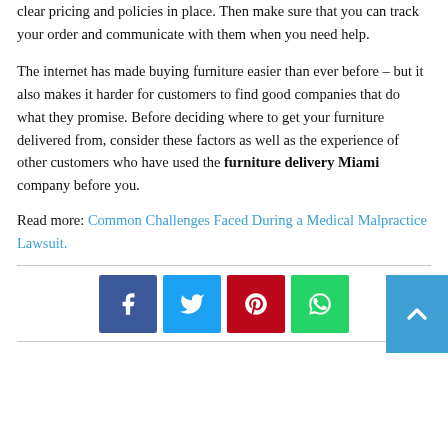clear pricing and policies in place. Then make sure that you can track your order and communicate with them when you need help.
The internet has made buying furniture easier than ever before – but it also makes it harder for customers to find good companies that do what they promise. Before deciding where to get your furniture delivered from, consider these factors as well as the experience of other customers who have used the furniture delivery Miami company before you.
Read more: Common Challenges Faced During a Medical Malpractice Lawsuit.
[Figure (infographic): Social sharing buttons: Facebook (blue), Twitter (light blue), Pinterest (red), WhatsApp (green), and a scroll-to-top button (blue) on the right.]